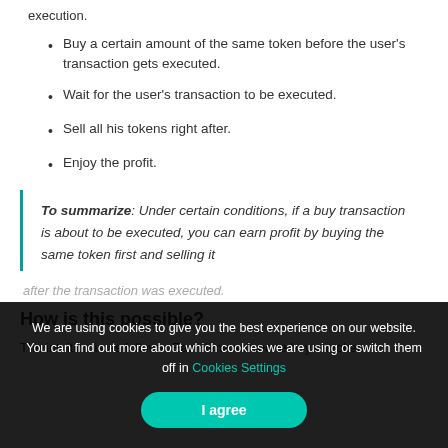execution.
Buy a certain amount of the same token before the user's transaction gets executed.
Wait for the user's transaction to be executed.
Sell all his tokens right after.
Enjoy the profit.
To summarize: Under certain conditions, if a buy transaction is about to be executed, you can earn profit by buying the same token first and selling it after the transaction was executed.
How is this possible?
The intuition is as follows: Each time someone buys a token...
We are using cookies to give you the best experience on our website. You can find out more about which cookies we are using or switch them off in Cookies Settings